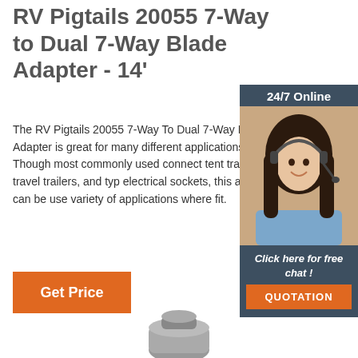RV Pigtails 20055 7-Way to Dual 7-Way Blade Adapter - 14'
The RV Pigtails 20055 7-Way To Dual 7-Way Blade Adapter is great for many different applications. Though most commonly used connect tent trailers, travel trailers, and typ electrical sockets, this adapter can be use variety of applications where fit.
[Figure (photo): Customer service representative woman with headset, shown in a chat widget sidebar with dark background. Header reads '24/7 Online'. Footer reads 'Click here for free chat!' with an orange 'QUOTATION' button.]
Get Price
[Figure (photo): Partial product photo of a gray adapter connector at the bottom of the page.]